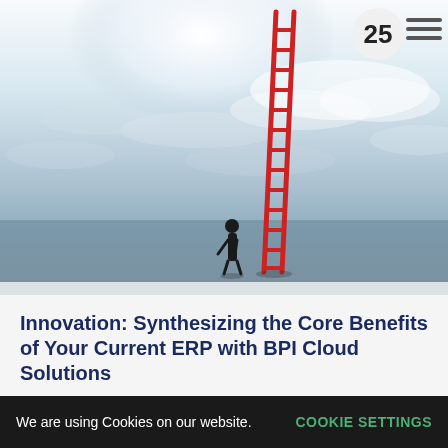[Figure (photo): A person in a business suit standing at the base of a tall red ladder extending upward into a bright, cloudy sky over a flat horizon. The scene is dramatic with white and grey clouds.]
Innovation: Synthesizing the Core Benefits of Your Current ERP with BPI Cloud Solutions
AP Automation, Approval Routing, Client Quotes, News, Procure to Pay
By iss • May 25, 2017
We are using Cookies on our website.  COOKIE SETTINGS